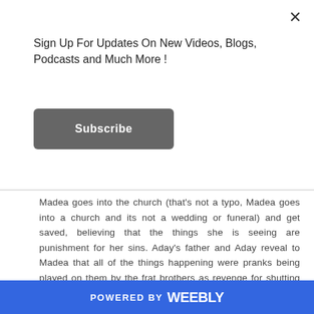Sign Up For Updates On New Videos, Blogs, Podcasts and Much More !
[Figure (other): Subscribe button - dark grey rounded rectangle with white text 'Subscribe']
Madea goes into the church (that's not a typo, Madea goes into a church and its not a wedding or funeral) and get saved, believing that the things she is seeing are punishment for her sins. Aday's father and Aday reveal to Madea that all of the things happening were pranks being played on them by the frat brothers as revenge for shutting down the party. Aday, her father, Hattie, Bam and Madea decide to prank the brothers back.
POWERED BY weebly